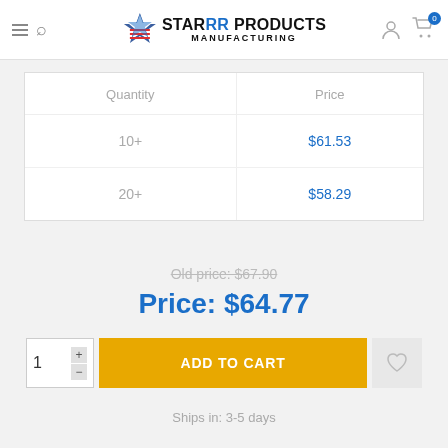STARRR PRODUCTS MANUFACTURING
| Quantity | Price |
| --- | --- |
| 10+ | $61.53 |
| 20+ | $58.29 |
Old price: $67.90
Price: $64.77
1
ADD TO CART
Ships in: 3-5 days